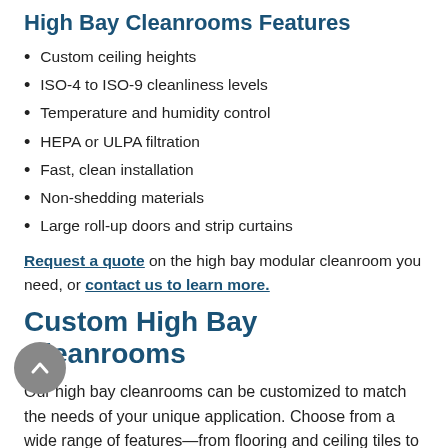High Bay Cleanrooms Features
Custom ceiling heights
ISO-4 to ISO-9 cleanliness levels
Temperature and humidity control
HEPA or ULPA filtration
Fast, clean installation
Non-shedding materials
Large roll-up doors and strip curtains
Request a quote on the high bay modular cleanroom you need, or contact us to learn more.
Custom High Bay Cleanrooms
Our high bay cleanrooms can be customized to match the needs of your unique application. Choose from a wide range of features—from flooring and ceiling tiles to windows and doors—to create a custom modular cleanroom that provides everything you need and nothing you don't.